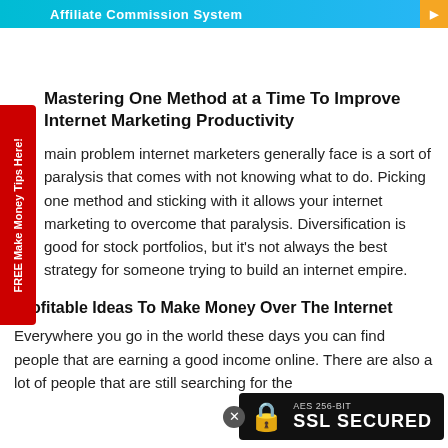Affiliate Commission System
Mastering One Method at a Time To Improve Internet Marketing Productivity
The main problem internet marketers generally face is a sort of paralysis that comes with not knowing what to do. Picking one method and sticking with it allows your internet marketing to overcome that paralysis. Diversification is good for stock portfolios, but it's not always the best strategy for someone trying to build an internet empire.
Profitable Ideas To Make Money Over The Internet
Everywhere you go in the world these days you can find people that are earning a good income online. There are also a lot of people that are still searching for the
[Figure (other): SSL Secured badge with AES 256-BIT encryption lock icon and close button]